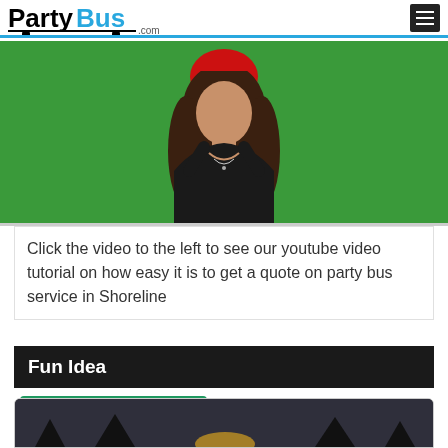PartyBus.com
[Figure (photo): Video thumbnail showing a woman with long dark hair wearing a black top in front of a green screen background. Her face is obscured with a red circle blur.]
Click the video to the left to see our youtube video tutorial on how easy it is to get a quote on party bus service in Shoreline
Fun Idea
SEASONAL HOLIDAY
[Figure (photo): Partial view of a photo/video thumbnail at the bottom of the page, appears to show a dark scene with some light elements.]